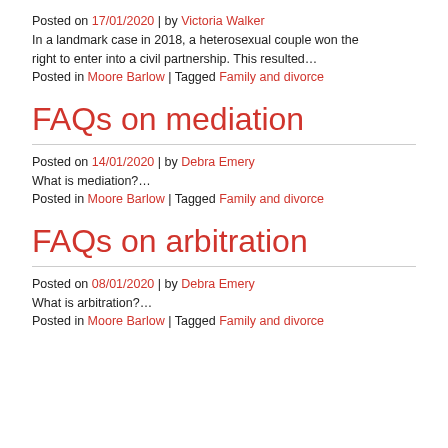Posted on 17/01/2020 | by Victoria Walker
In a landmark case in 2018, a heterosexual couple won the right to enter into a civil partnership. This resulted…
Posted in Moore Barlow | Tagged Family and divorce
FAQs on mediation
Posted on 14/01/2020 | by Debra Emery
What is mediation?…
Posted in Moore Barlow | Tagged Family and divorce
FAQs on arbitration
Posted on 08/01/2020 | by Debra Emery
What is arbitration?…
Posted in Moore Barlow | Tagged Family and divorce